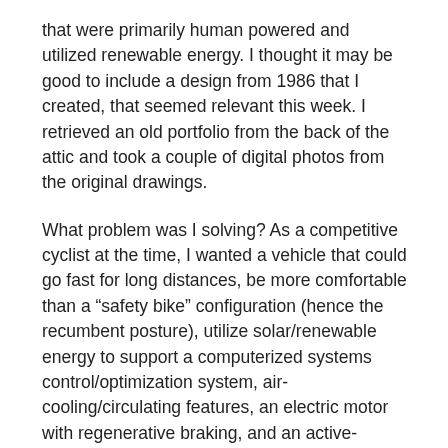that were primarily human powered and utilized renewable energy. I thought it may be good to include a design from 1986 that I created, that seemed relevant this week. I retrieved an old portfolio from the back of the attic and took a couple of digital photos from the original drawings.
What problem was I solving? As a competitive cyclist at the time, I wanted a vehicle that could go fast for long distances, be more comfortable than a “safety bike” configuration (hence the recumbent posture), utilize solar/renewable energy to support a computerized systems control/optimization system, air-cooling/circulating features, an electric motor with regenerative braking, and an active-weighted-hydraulic rear wheel – in order to go very long distances.